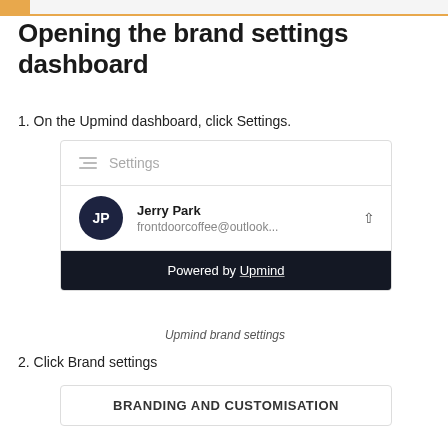Opening the brand settings dashboard
1. On the Upmind dashboard, click Settings.
[Figure (screenshot): Upmind dashboard settings menu showing Settings option with a hamburger-like icon, and a profile section showing Jerry Park with email frontdoorcoffee@outlook... and a dark 'Powered by Upmind' bar at the bottom.]
Upmind brand settings
2. Click Brand settings
[Figure (screenshot): Upmind brand settings panel showing 'BRANDING AND CUSTOMISATION' header.]